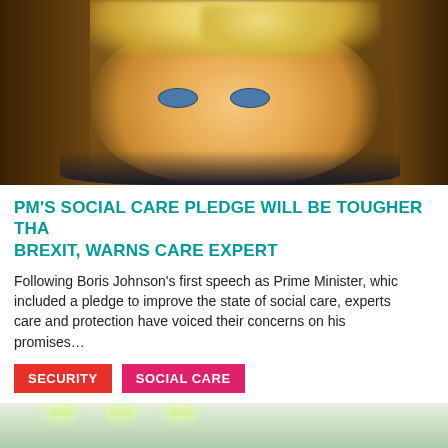[Figure (photo): Close-up photo of Boris Johnson with tousled blond hair, looking forward, in front of wooden paneling background]
PM’S SOCIAL CARE PLEDGE WILL BE TOUGHER THAN BREXIT, WARNS CARE EXPERT
Following Boris Johnson’s first speech as Prime Minister, which included a pledge to improve the state of social care, experts in care and protection have voiced their concerns on his promises…
SECURITY
SOCIAL CARE
[Figure (photo): Partial view of an indoor space with ceiling lights visible, green-toned environment]